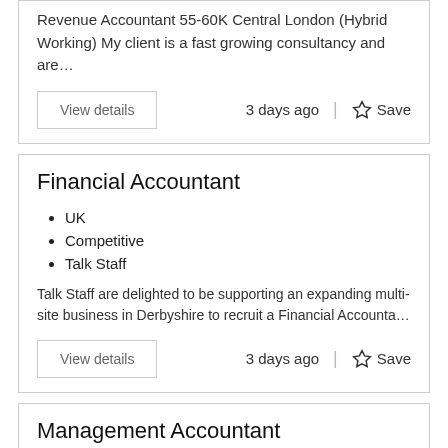Revenue Accountant 55-60K Central London (Hybrid Working) My client is a fast growing consultancy and are…
3 days ago
Save
Financial Accountant
UK
Competitive
Talk Staff
Talk Staff are delighted to be supporting an expanding multi-site business in Derbyshire to recruit a Financial Accounta…
3 days ago
Save
Management Accountant